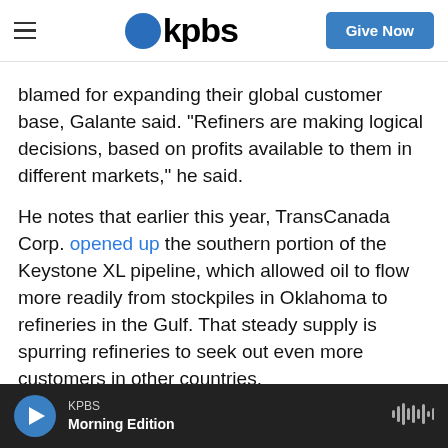kpbs | Give Now
blamed for expanding their global customer base, Galante said. "Refiners are making logical decisions, based on profits available to them in different markets," he said.
He notes that earlier this year, TransCanada Corp. opened up the southern portion of the Keystone XL pipeline, which allowed oil to flow more readily from stockpiles in Oklahoma to refineries in the Gulf. That steady supply is spurring refineries to seek out even more customers in other countries.
Other factors might also affect gas prices in coming
KPBS Morning Edition